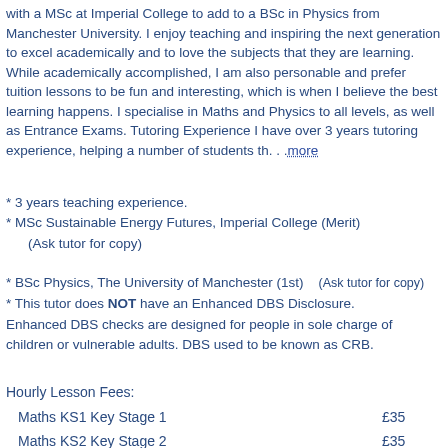with a MSc at Imperial College to add to a BSc in Physics from Manchester University. I enjoy teaching and inspiring the next generation to excel academically and to love the subjects that they are learning. While academically accomplished, I am also personable and prefer tuition lessons to be fun and interesting, which is when I believe the best learning happens. I specialise in Maths and Physics to all levels, as well as Entrance Exams. Tutoring Experience I have over 3 years tutoring experience, helping a number of students th. . .more
* 3 years teaching experience.
* MSc Sustainable Energy Futures, Imperial College (Merit)
(Ask tutor for copy)
* BSc Physics, The University of Manchester (1st)    (Ask tutor for copy)
* This tutor does NOT have an Enhanced DBS Disclosure.
Enhanced DBS checks are designed for people in sole charge of children or vulnerable adults. DBS used to be known as CRB.
Hourly Lesson Fees:
| Subject | Fee |
| --- | --- |
| Maths KS1 Key Stage 1 | £35 |
| Maths KS2 Key Stage 2 | £35 |